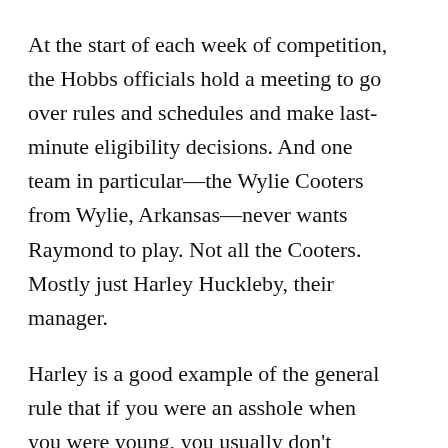At the start of each week of competition, the Hobbs officials hold a meeting to go over rules and schedules and make last-minute eligibility decisions. And one team in particular—the Wylie Cooters from Wylie, Arkansas—never wants Raymond to play. Not all the Cooters. Mostly just Harley Huckleby, their manager.
Harley is a good example of the general rule that if you were an asshole when you were young, you usually don't outgrow it.
The Roy Hobbs World Series is 26 years old now. (The series is named, of course, for the conflicted and unredeemed villain in Bernard Malamud's The Natural, one of the best baseball books ever written. But the guy who founded the Hobbs organization didn't read books. He'd only seen the movie in which Roy ended up being a hero.)
The Series started out as a place for guys in their 20's and 30's and 40's to go to play baseball again. As this original